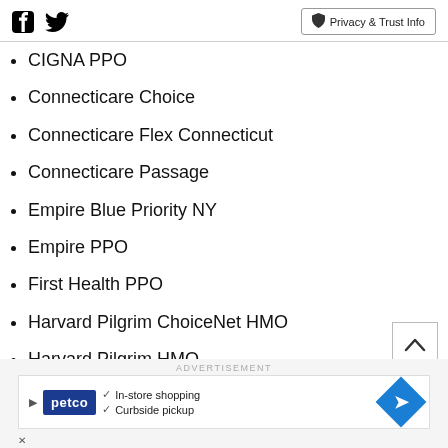Facebook Twitter | Privacy & Trust Info
CIGNA PPO
Connecticare Choice
Connecticare Flex Connecticut
Connecticare Passage
Empire Blue Priority NY
Empire PPO
First Health PPO
Harvard Pilgrim ChoiceNet HMO
Harvard Pilgrim HMO
[Figure (infographic): Advertisement banner for Petco showing in-store shopping and curbside pickup options]
ADVERTISEMENT